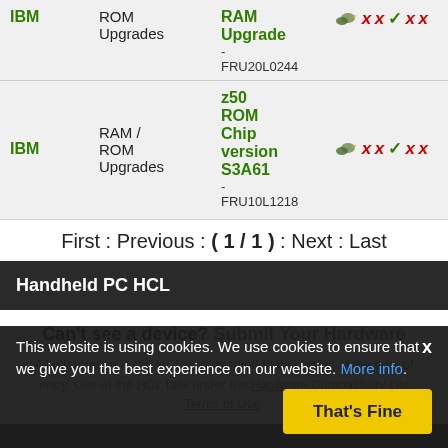| Brand | Category | Product | Icons |
| --- | --- | --- | --- |
| IBM | ROM Upgrades | RAM Upgrade
-
FRU20L0244 | bird x x check x x |
| IBM | RAM / ROM Upgrades | z50 ROM Chip version S3A61
-
FRU10L1218 | bird x x check x x |
First : Previous : ( 1 / 1 ) : Next : Last
Handheld PC HCL
Can't see a device? Submit Your Hardware
All information in the HCL was deemed to be correct at the time of entry. Use of the HCL falls under the Hardware Compatibility List Terms of Use.
This website is using cookies. We use cookies to ensure that we give you the best experience on our website. More info. That's Fine